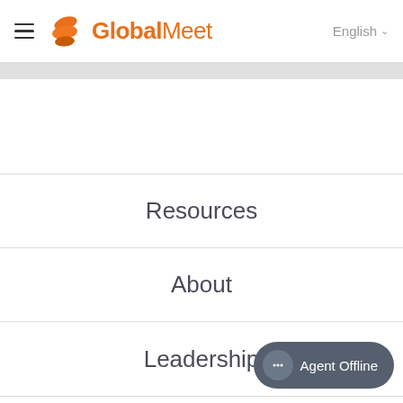GlobalMeet | English
Resources
About
Leadership
Agent Offline